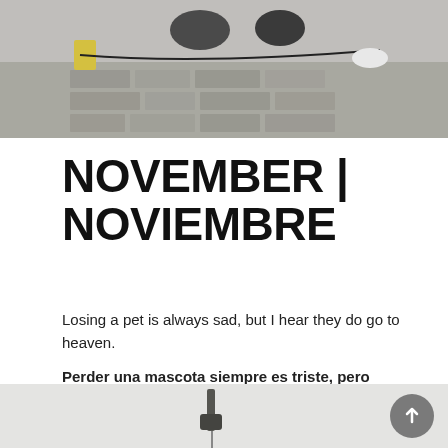[Figure (photo): Top photo showing people on stone/brick pavement with bags, cables and a yellow object visible, grey/muted tones]
NOVEMBER | NOVIEMBRE
Losing a pet is always sad, but I hear they do go to heaven.
Perder una mascota siempre es triste, pero escuché que sí se van al cielo.
[Figure (photo): Bottom partial photo showing a white/light background with a dark brush or tool object in the center]